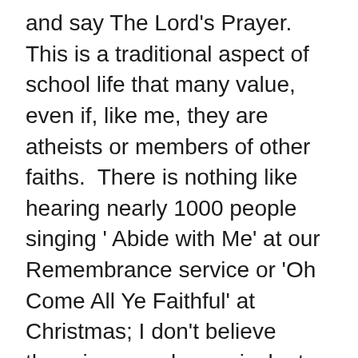and say The Lord's Prayer.  This is a traditional aspect of school life that many value, even if, like me, they are atheists or members of other faiths.  There is nothing like hearing nearly 1000 people singing ' Abide with Me' at our Remembrance service or 'Oh Come All Ye Faithful' at Christmas; I don't believe there is a secular equivalent that comes close.  Communal singing generates a very special atmosphere that is spiritual for all of us, regardless of our beliefs.  At the end of the Easter and summer terms we sing 'Jerusalem.' It is wonderful and the experience stays in students' hearts long after they have left.